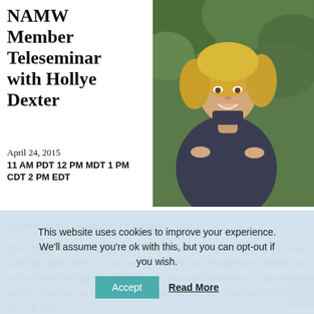NAMW Member Teleseminar with Hollye Dexter
April 24, 2015
11 AM PDT 12 PM MDT 1 PM CDT 2 PM EDT
[Figure (photo): Portrait photo of Hollye Dexter, a smiling blonde woman with arms crossed, seated outdoors with green foliage behind her, wearing a dark top.]
To listen to the recording of this call join today.
Our story is the only thing of true value that we own, the one thing that can't be taken from us. And yet, so many of us struggle with whether or not we have the right to tell it. We are silenced by the fear of upsetting others in telling our truth, but here's the bottom line: You own the rights to your life
This website uses cookies to improve your experience. We'll assume you're ok with this, but you can opt-out if you wish.